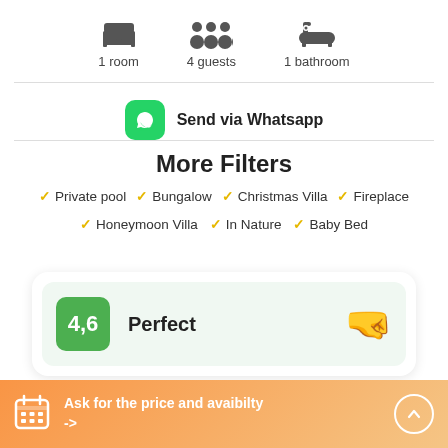[Figure (infographic): Three icons: bed (1 room), four people silhouettes (4 guests), bathtub (1 bathroom) with labels below each]
1 room   4 guests   1 bathroom
[Figure (infographic): WhatsApp green icon button with text 'Send via Whatsapp']
Send via Whatsapp
More Filters
Private pool
Bungalow
Christmas Villa
Fireplace
Honeymoon Villa
In Nature
Baby Bed
[Figure (infographic): Rating card with green badge showing '4,6', text 'Perfect', and a thumbs-up emoji on the right]
Ask for the price and avaibilty ->